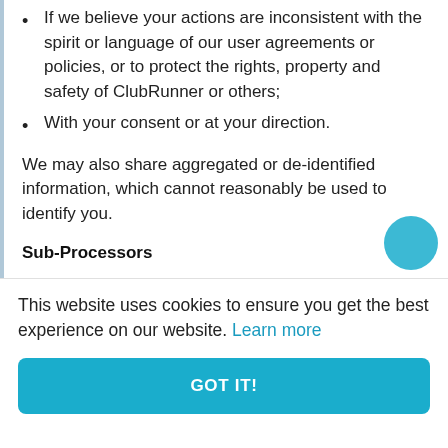If we believe your actions are inconsistent with the spirit or language of our user agreements or policies, or to protect the rights, property and safety of ClubRunner or others;
With your consent or at your direction.
We may also share aggregated or de-identified information, which cannot reasonably be used to identify you.
Sub-Processors
ClubRunner employs other companies and people to provide functions that form part of our Services, for
This website uses cookies to ensure you get the best experience on our website. Learn more
GOT IT!